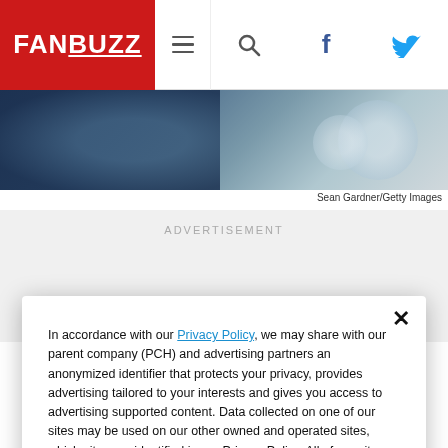FANBUZZ
[Figure (photo): Cropped photo of a person wearing a blue shirt, bokeh background, partial face visible]
Sean Gardner/Getty Images
ADVERTISEMENT
In accordance with our Privacy Policy, we may share with our parent company (PCH) and advertising partners an anonymized identifier that protects your privacy, provides advertising tailored to your interests and gives you access to advertising supported content. Data collected on one of our sites may be used on our other owned and operated sites, which sites are identified in our Privacy Policy. All of our sites are governed by the same Privacy Policy, and by proceeding to access this site, you are consenting to that Privacy Policy.